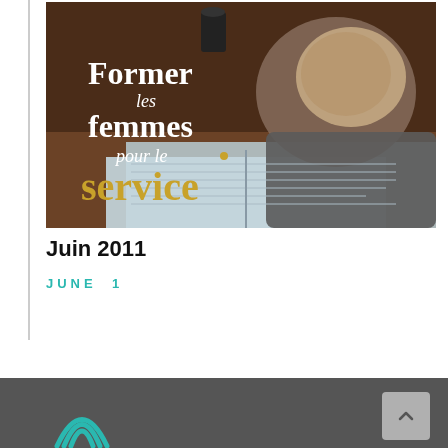[Figure (photo): Book cover image showing an elderly woman reading a book, with French text 'Former les femmes pour le service' overlaid on the image. The text is in white and gold serif font.]
Juin 2011
JUNE  1